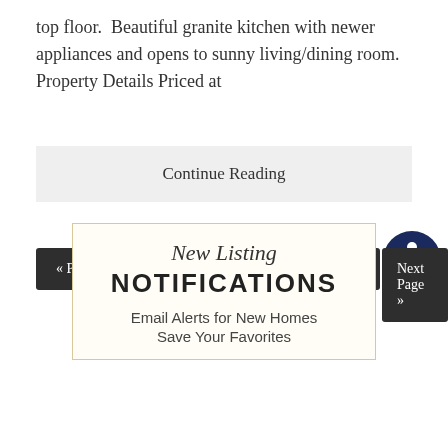top floor.  Beautiful granite kitchen with newer appliances and opens to sunny living/dining room.  Property Details Priced at
Continue Reading
« Previous Page
1
2
3
4
Next Page »
[Figure (illustration): Accessibility icon — dark navy circle with white stylized person figure in center]
New Listing
NOTIFICATIONS
Email Alerts for New Homes
Save Your Favorites